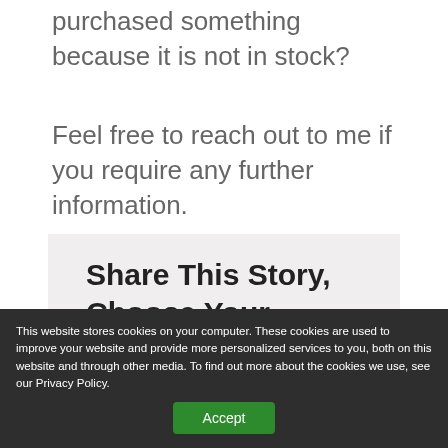purchased something because it is not in stock?
Feel free to reach out to me if you require any further information.
Share This Story, Choose Your Platform!
This website stores cookies on your computer. These cookies are used to improve your website and provide more personalized services to you, both on this website and through other media. To find out more about the cookies we use, see our Privacy Policy.
Accept